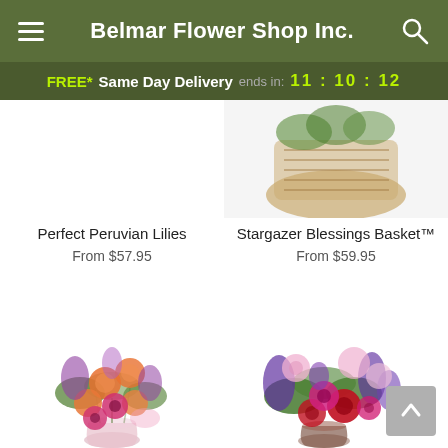Belmar Flower Shop Inc.
FREE* Same Day Delivery ends in: 11:10:12
[Figure (photo): Partial view of Stargazer Blessings Basket arrangement in a woven basket, cropped at top]
Perfect Peruvian Lilies
From $57.95
Stargazer Blessings Basket™
From $59.95
[Figure (photo): Colorful mixed flower bouquet with orange roses, pink gerbera daisies, and purple stock flowers in a pink glass vase]
[Figure (photo): Purple, pink and red flower arrangement with roses, gerbera daisies, and purple delphinium in a glass vase]